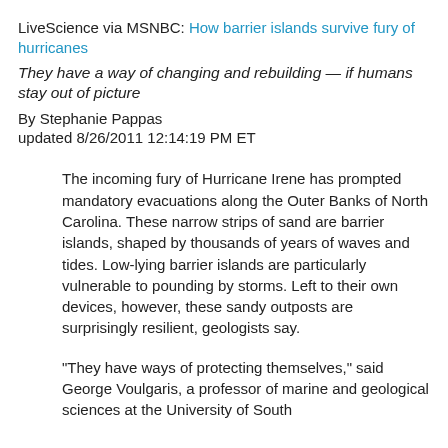LiveScience via MSNBC: How barrier islands survive fury of hurricanes
They have a way of changing and rebuilding — if humans stay out of picture
By Stephanie Pappas
updated 8/26/2011 12:14:19 PM ET
The incoming fury of Hurricane Irene has prompted mandatory evacuations along the Outer Banks of North Carolina. These narrow strips of sand are barrier islands, shaped by thousands of years of waves and tides. Low-lying barrier islands are particularly vulnerable to pounding by storms. Left to their own devices, however, these sandy outposts are surprisingly resilient, geologists say.
"They have ways of protecting themselves," said George Voulgaris, a professor of marine and geological sciences at the University of South